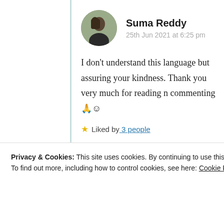Suma Reddy
25th Jun 2021 at 6:25 pm
I don’t understand this language but assuring your kindness. Thank you very much for reading n commenting 🙏🙂
★ Liked by 3 people
Privacy & Cookies: This site uses cookies. By continuing to use this website, you agree to their use.
To find out more, including how to control cookies, see here: Cookie Policy
Close and accept